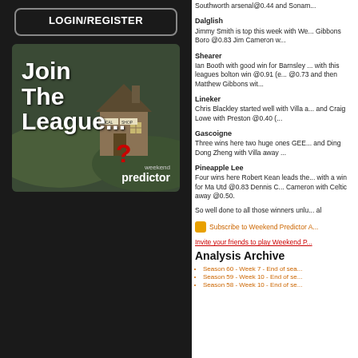LOGIN/REGISTER
[Figure (illustration): Join The League... weekend predictor promotional banner image showing a rural building with local shop sign and a red question mark]
Southworth arsenal@0.44 and Sonam...
Dalglish
Jimmy Smith is top this week with We... Gibbons Boro @0.83 Jim Cameron w...
Shearer
Ian Booth with good win for Barnsley ... with this leagues bolton win @0.91 (e... @0.73 and then Matthew Gibbons wit...
Lineker
Chris Blackley started well with Villa a... and Craig Lowe with Preston @0.40 (...
Gascoigne
Three wins here two huge ones GEE... and Ding Dong Zheng with Villa away ...
Pineapple Lee
Four wins here Robert Kean leads the... with a win for Ma Utd @0.83 Dennis C... Cameron with Celtic away @0.50.
So well done to all those winners unlu... al
Subscribe to Weekend Predictor A...
Invite your friends to play Weekend P...
Analysis Archive
Season 60 - Week 7 - End of sea...
Season 59 - Week 10 - End of se...
Season 58 - Week 10 - End of se...